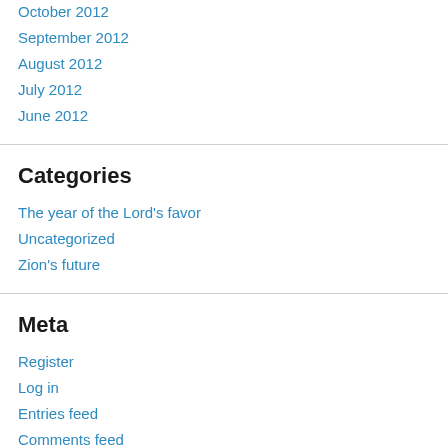October 2012
September 2012
August 2012
July 2012
June 2012
Categories
The year of the Lord's favor
Uncategorized
Zion's future
Meta
Register
Log in
Entries feed
Comments feed
WordPress.com